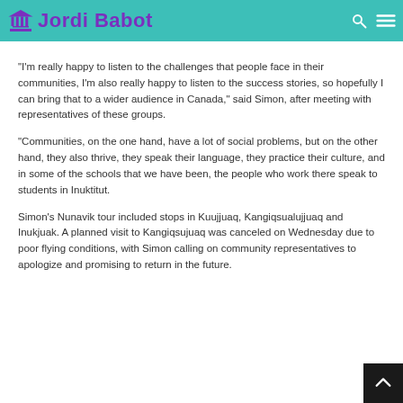Jordi Babot
“I’m really happy to listen to the challenges that people face in their communities, I’m also really happy to listen to the success stories, so hopefully I can bring that to a wider audience in Canada,” said Simon, after meeting with representatives of these groups.
“Communities, on the one hand, have a lot of social problems, but on the other hand, they also thrive, they speak their language, they practice their culture, and in some of the schools that we have been, the people who work there speak to students in Inuktitut.
Simon’s Nunavik tour included stops in Kuujjuaq, Kangiqsualujjuaq and Inukjuak. A planned visit to Kangiqsujuaq was canceled on Wednesday due to poor flying conditions, with Simon calling on community representatives to apologize and promising to return in the future.